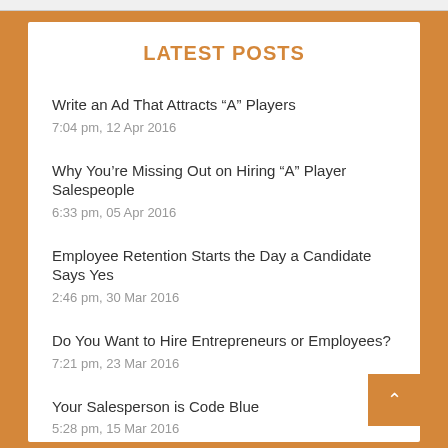LATEST POSTS
Write an Ad That Attracts “A” Players
7:04 pm, 12 Apr 2016
Why You’re Missing Out on Hiring “A” Player Salespeople
6:33 pm, 05 Apr 2016
Employee Retention Starts the Day a Candidate Says Yes
2:46 pm, 30 Mar 2016
Do You Want to Hire Entrepreneurs or Employees?
7:21 pm, 23 Mar 2016
Your Salesperson is Code Blue
5:28 pm, 15 Mar 2016